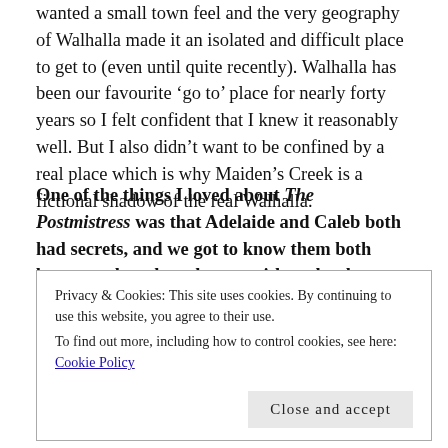wanted a small town feel and the very geography of Walhalla made it an isolated and difficult place to get to (even until quite recently). Walhalla has been our favourite 'go to' place for nearly forty years so I felt confident that I knew it reasonably well. But I also didn't want to be confined by a real place which is why Maiden's Creek is a fictional shadow of the real Walhalla.
One of the things I loved about The Postmistress was that Adelaide and Caleb both had secrets, and we got to know them both better as they shared more with each other. When you were writing their story did these characters come to you already fully formed, or did you get to know them as you
Privacy & Cookies: This site uses cookies. By continuing to use this website, you agree to their use.
To find out more, including how to control cookies, see here: Cookie Policy
confederate cause in the American Civil War as an